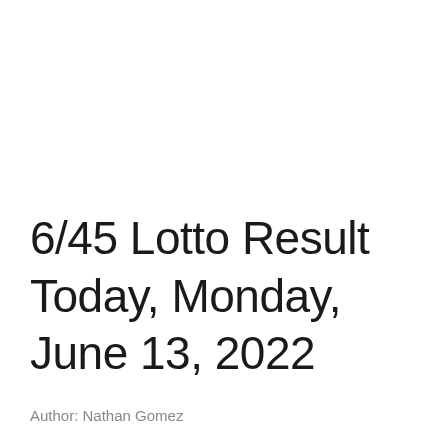6/45 Lotto Result Today, Monday, June 13, 2022
Author: Nathan Gomez